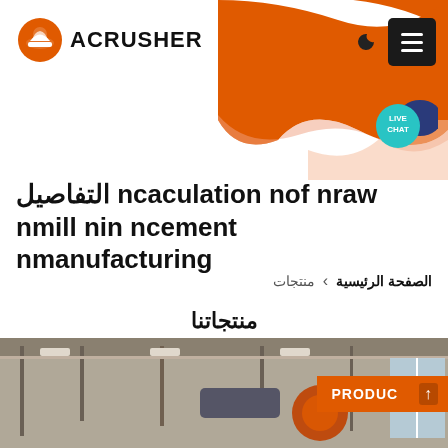ACRUSHER
التفاصيل ncaculation nof nraw nmill nin ncement nmanufacturing
منتجات › الصفحة الرئيسية
منتجاتنا
[Figure (photo): Industrial factory interior showing overhead machinery and equipment, with orange PRODUC label overlay in bottom right]